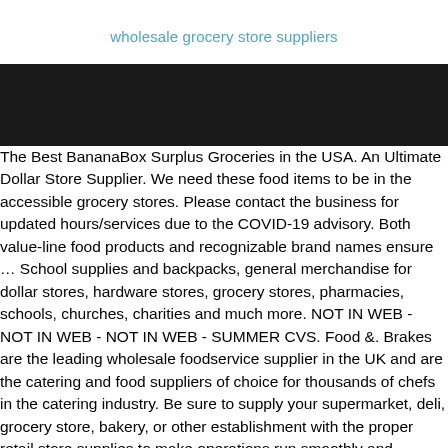wholesale grocery store suppliers
[Figure (other): Black banner/hero image area]
The Best BananaBox Surplus Groceries in the USA. An Ultimate Dollar Store Supplier. We need these food items to be in the accessible grocery stores. Please contact the business for updated hours/services due to the COVID-19 advisory. Both value-line food products and recognizable brand names ensure … School supplies and backpacks, general merchandise for dollar stores, hardware stores, grocery stores, pharmacies, schools, churches, charities and much more. NOT IN WEB - NOT IN WEB - NOT IN WEB - SUMMER CVS. Food &. Brakes are the leading wholesale foodservice supplier in the UK and are the catering and food suppliers of choice for thousands of chefs in the catering industry. Be sure to supply your supermarket, deli, grocery store, bakery, or other establishment with the proper retail store supplies to make operations run smoothly and efficiently. Due to it's big buying capacity it can compete with other major product and clearance wholesalers in the UK and Europe.